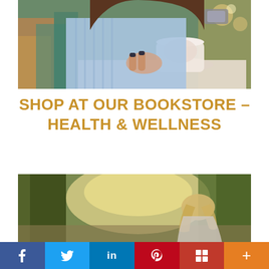[Figure (photo): Woman in light blue shirt sitting at a table with a coffee cup, resting her chin on her hand, wearing a watch. Colorful chairs and bokeh background visible.]
SHOP AT OUR BOOKSTORE – HEALTH & WELLNESS
[Figure (photo): Woman with blonde hair walking outdoors among trees with sunlight, shot from behind.]
f  Twitter  in  Pinterest  Flipboard  +